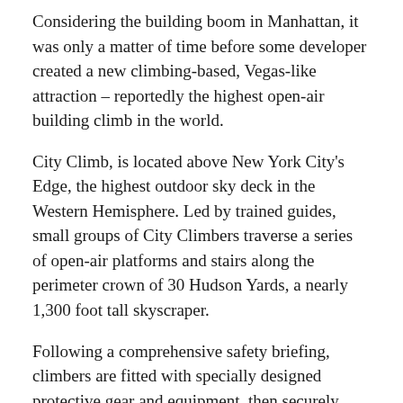Considering the building boom in Manhattan, it was only a matter of time before some developer created a new climbing-based, Vegas-like attraction – reportedly the highest open-air building climb in the world.
City Climb, is located above New York City's Edge, the highest outdoor sky deck in the Western Hemisphere. Led by trained guides, small groups of City Climbers traverse a series of open-air platforms and stairs along the perimeter crown of 30 Hudson Yards, a nearly 1,300 foot tall skyscraper.
Following a comprehensive safety briefing, climbers are fitted with specially designed protective gear and equipment, then securely harnessed into the course by City Climb guides via two cables attached to a trolley that seamlessly moves with the climber throughout the entire journey.
“With no obstructions along City Climb’s exterior